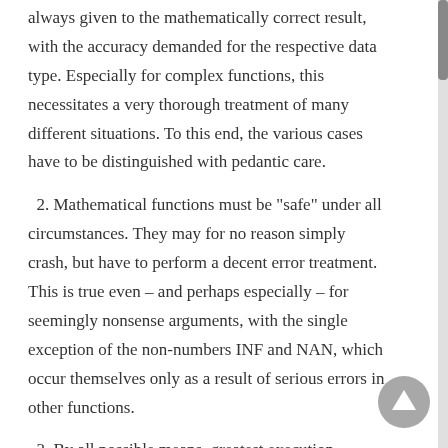always given to the mathematically correct result, with the accuracy demanded for the respective data type. Especially for complex functions, this necessitates a very thorough treatment of many different situations. To this end, the various cases have to be distinguished with pedantic care.
2. Mathematical functions must be "safe" under all circumstances. They may for no reason simply crash, but have to perform a decent error treatment. This is true even – and perhaps especially – for seemingly nonsense arguments, with the single exception of the non-numbers INF and NAN, which occur themselves only as a result of serious errors in other functions.
3. By all possible means, greatest execution